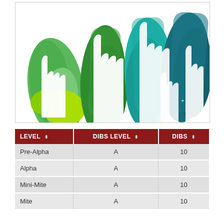[Figure (illustration): Colorful illustration of white hand silhouettes raised up against paintbrush-stroke backgrounds in shades of green and teal/blue]
| LEVEL | DIBS LEVEL | DIBS |
| --- | --- | --- |
| Pre-Alpha | A | 10 |
| Alpha | A | 10 |
| Mini-Mite | A | 10 |
| Mite | A | 10 |